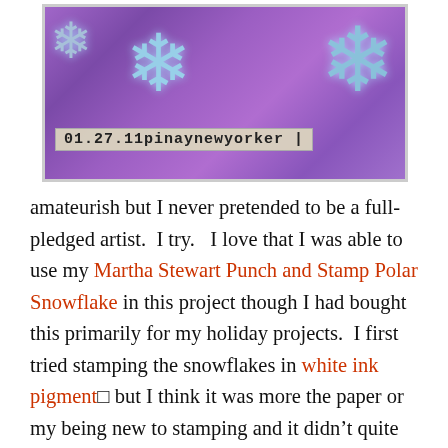[Figure (photo): A craft project image showing snowflake decorations on a purple/violet textured background. A stamp label reads '01.27.11pinaynewyorker' in monospace typewriter font at the bottom left.]
amateurish but I never pretended to be a full-pledged artist.  I try.   I love that I was able to use my Martha Stewart Punch and Stamp Polar Snowflake in this project though I had bought this primarily for my holiday projects.  I first tried stamping the snowflakes in white ink pigment□ but I think it was more the paper or my being new to stamping and it didn't quite come out except for a faint hint.  So I punched snowflakes from a regular notebook page (not so white but no quite blue), showing lines and all, then I printed my journaling on some kraft paper cut out from a brown shopping bag using Adler font